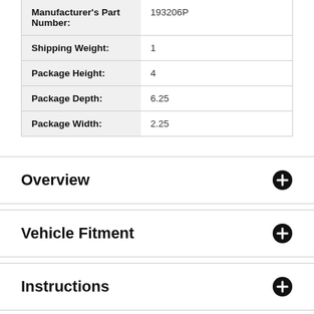| Attribute | Value |
| --- | --- |
| Manufacturer's Part Number: | 193206P |
| Shipping Weight: | 1 |
| Package Height: | 4 |
| Package Depth: | 6.25 |
| Package Width: | 2.25 |
Overview
Vehicle Fitment
Instructions
Reviews